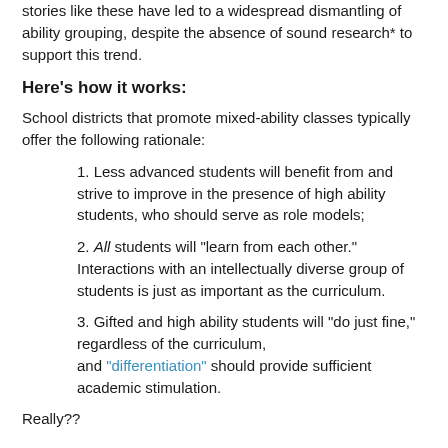stories like these have led to a widespread dismantling of ability grouping, despite the absence of sound research* to support this trend.
Here's how it works:
School districts that promote mixed-ability classes typically offer the following rationale:
1. Less advanced students will benefit from and strive to improve in the presence of high ability students, who should serve as role models;
2. All students will "learn from each other." Interactions with an intellectually diverse group of students is just as important as the curriculum.
3. Gifted and high ability students will "do just fine," regardless of the curriculum, and "differentiation" should provide sufficient academic stimulation.
Really??